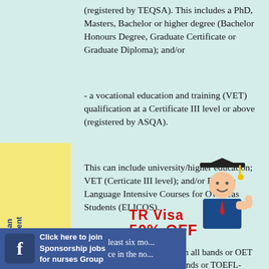(registered by TEQSA). This includes a PhD, Masters, Bachelor or higher degree (Bachelor Honours Degree, Graduate Certificate or Graduate Diploma); and/or
- a vocational education and training (VET) qualification at a Certificate III level or above (registered by ASQA).
This can include university/higher education; VET (Certicate III level); and/or English Language Intensive Courses for Overseas Students (ELICOS).
IELTS score of at least 7 in all bands or OET score of at least B in all bands or TOEFL-iBT (24 in all bands) or PTE Academic (65 in all bands) or Cambridge English Advanced (CEA) (185 in all...
IELTS exemption: citiz... USA, Canada and New Zealand.
...least six mo... ce in the no...
[Figure (infographic): Advertisement overlay: TR Visa 50% OFF from $495 with a photo of a graduate in cap and gown giving thumbs up]
Schedule an Appointment
[Figure (infographic): Social media share buttons: Facebook Share 0, LinkedIn Share, Twitter Tweet]
Click here to join Sponsorship jobs for nurses Group